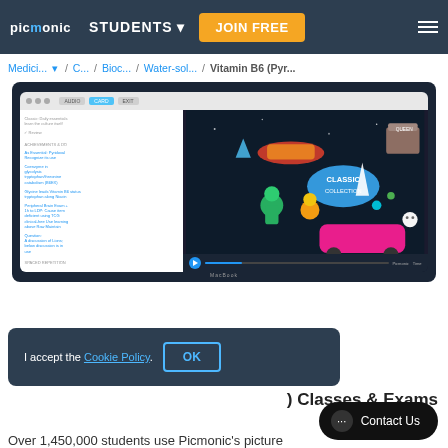Unforgettable characters that impact videos
picmonic | STUDENTS | JOIN FREE
Medici... / C... / Bioc... / Water-sol... / Vitamin B6 (Pyr...
[Figure (screenshot): Laptop showing Picmonic learning app with animated cartoon characters (aliens, monsters) in a space/retro scene with a browser interface showing learning content on the left sidebar]
I accept the Cookie Policy.
) Classes & Exams
Contact Us
Over 1,450,000 students use Picmonic's picture